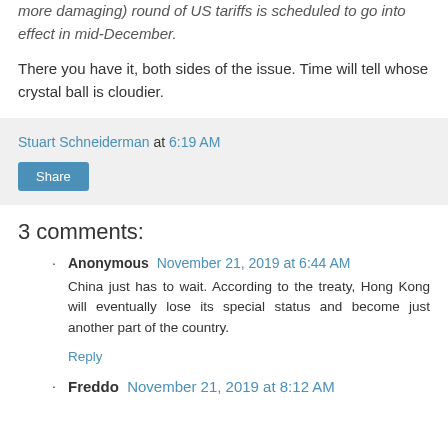more damaging) round of US tariffs is scheduled to go into effect in mid-December.
There you have it, both sides of the issue. Time will tell whose crystal ball is cloudier.
Stuart Schneiderman at 6:19 AM
Share
3 comments:
Anonymous November 21, 2019 at 6:44 AM
China just has to wait. According to the treaty, Hong Kong will eventually lose its special status and become just another part of the country.
Reply
Freddo November 21, 2019 at 8:12 AM